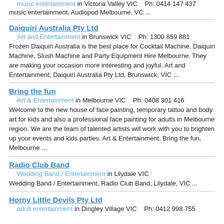music entertainment in Victoria Valley VIC    Ph: 0414 147 437
music entertainment, Audiopod Melbourne, VC ...
Daiquiri Australia Pty Ltd
Art and Entertainment in Brunswick VIC    Ph: 1300 859 881
Frozen Daiquiri Australia is the best place for Cocktail Machine, Daiquiri Machine, Slush Machine and Party Equipment Hire Melbourne. They are making your occasion more interesting and joyful. Art and Entertainment, Daiquiri Australia Pty Ltd, Brunswick, VIC ...
Bring the fun
Art & Entertainment in Melbourne VIC    Ph: 0408 301 416
Welcome to the new house of face painting, temporary tattoo and body art for kids and also a professional face painting for adults in Melbourne region. We are the team of talented artists will work with you to brighten up your events and kids parties. Art & Entertainment, Bring the fun, Melbourne ...
Radio Club Band
Wedding Band / Entertainment in Lilydale VIC
Wedding Band / Entertainment, Radio Club Band, Lilydale, VIC ...
Horny Little Devils Pty Ltd
adult entertainment in Dingley Village VIC    Ph: 0412 998 755